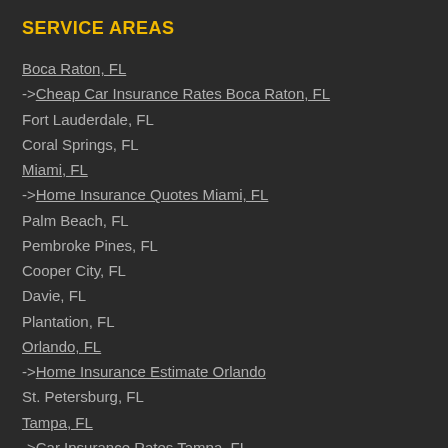SERVICE AREAS
Boca Raton, FL
->Cheap Car Insurance Rates Boca Raton, FL
Fort Lauderdale, FL
Coral Springs, FL
Miami, FL
->Home Insurance Quotes Miami, FL
Palm Beach, FL
Pembroke Pines, FL
Cooper City, FL
Davie, FL
Plantation, FL
Orlando, FL
->Home Insurance Estimate Orlando
St. Petersburg, FL
Tampa, FL
->Car Insurance Rates Tampa, FL
Sarasota, FL